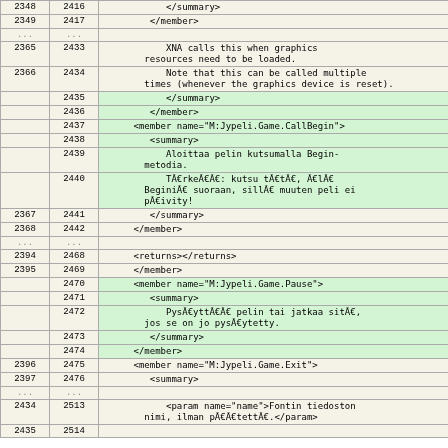|  |  |  |
| --- | --- | --- |
| 2348 | 2416 |             </summary> |
| 2349 | 2417 |          </member> |
| ... | ... |  |
| 2365 | 2433 |             XNA calls this when graphics
        resources need to be loaded. |
| 2366 | 2434 |             Note that this can be called multiple
        times (whenever the graphics device is reset). |
|  | 2435 |          </summary> |
|  | 2436 |       </member> |
|  | 2437 |       <member name="M:Jypeli.Game.CallBegin"> |
|  | 2438 |          <summary> |
|  | 2439 |             Aloittaa pelin kutsumalla Begin-
        metodia. |
|  | 2440 |             TÃ¤rkeÃ¤Ã¤: kutsu tÃ¤tÃ¤, Ã¤lÃ¤
        BeginiÃ¤ suoraan, sillÃ¤ muuten peli ei
        pÃ¤ivity! |
| 2367 | 2441 |          </summary> |
| 2368 | 2442 |       </member> |
| ... | ... |  |
| 2394 | 2468 |       <returns></returns> |
| 2395 | 2469 |       </member> |
|  | 2470 |       <member name="M:Jypeli.Game.Pause"> |
|  | 2471 |          <summary> |
|  | 2472 |             PysÃ¤yttÃ¤Ã¤ pelin tai jatkaa sitÃ¤,
        jos se on jo pysÃ¤ytetty. |
|  | 2473 |          </summary> |
|  | 2474 |       </member> |
| 2396 | 2475 |       <member name="M:Jypeli.Game.Exit"> |
| 2397 | 2476 |          <summary> |
| ... | ... |  |
| 2434 | 2513 |             <param name="name">Fontin tiedoston
        nimi, ilman pÃ¤Ã¤tettÃ¤.</param> |
| 2435 | 2514 | ... |